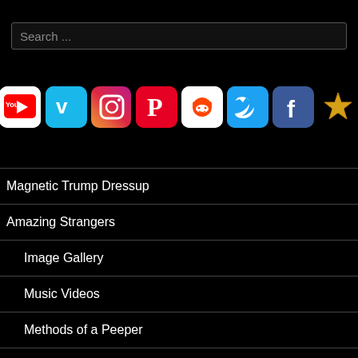Search ...
[Figure (infographic): Social media icons row: YouTube, Vimeo, Instagram, Pinterest, Reddit, Twitter, Facebook, and a star/gold icon]
Magnetic Trump Dressup
Amazing Strangers
Image Gallery
Music Videos
Methods of a Peeper
Normal Bob Favorites
Year In Review